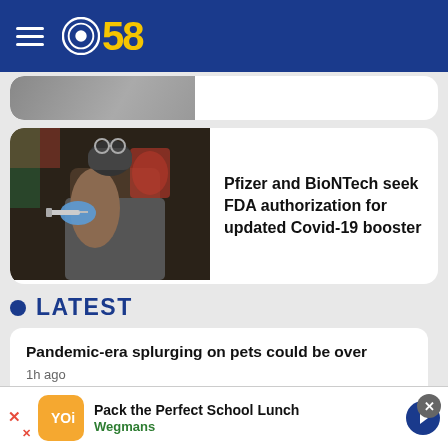CBS 58
[Figure (photo): Partial news card with cropped image at top]
[Figure (photo): Person receiving a COVID-19 vaccine injection from a healthcare worker wearing a mask and gloves]
Pfizer and BioNTech seek FDA authorization for updated Covid-19 booster
LATEST
Pandemic-era splurging on pets could be over
1h ago
Famed World War II fighter pilot Dean 'Diz' Laird
[Figure (infographic): Advertisement: Pack the Perfect School Lunch — Wegmans]
Pack the Perfect School Lunch
Wegmans